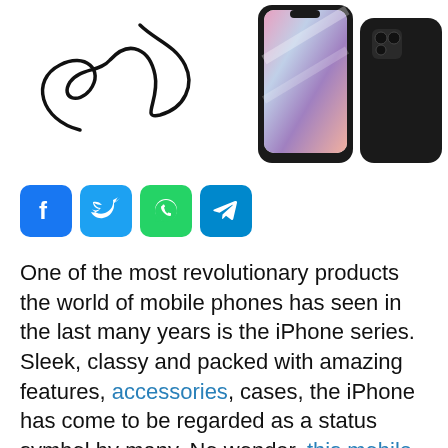[Figure (logo): Decorative cursive swirl logo in black ink]
[Figure (photo): iPhone with colorful screen and black case, front and back views]
[Figure (infographic): Social media share icons: Facebook, Twitter, WhatsApp, Telegram]
One of the most revolutionary products the world of mobile phones has seen in the last many years is the iPhone series. Sleek, classy and packed with amazing features, accessories, cases, the iPhone has come to be regarded as a status symbol by many. No wonder, this mobile phone brand happens to be the preferred choice by many